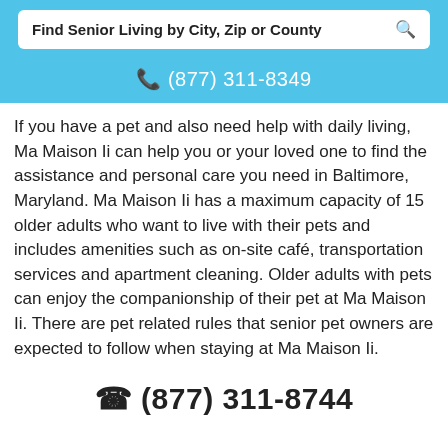[Figure (screenshot): Search bar with text 'Find Senior Living by City, Zip or County' and a magnifying glass icon on a white background]
☎ (877) 311-8349
If you have a pet and also need help with daily living, Ma Maison Ii can help you or your loved one to find the assistance and personal care you need in Baltimore, Maryland. Ma Maison Ii has a maximum capacity of 15 older adults who want to live with their pets and includes amenities such as on-site café, transportation services and apartment cleaning. Older adults with pets can enjoy the companionship of their pet at Ma Maison Ii. There are pet related rules that senior pet owners are expected to follow when staying at Ma Maison Ii.
☎ (877) 311-8744